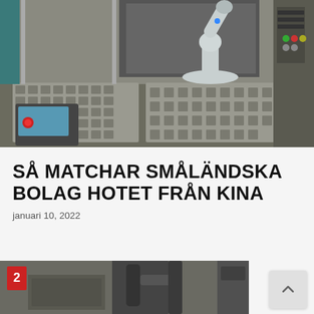[Figure (photo): Industrial factory scene: a collaborative robot arm (white/blue Universal Robots cobot) positioned above trays filled with grey metal parts. A control panel with touchscreen and red emergency stop button is visible on the left. CNC machinery in the background.]
SÅ MATCHAR SMÅLÄNDSKA BOLAG HOTET FRÅN KINA
januari 10, 2022
[Figure (photo): Partial view of another industrial robot arm in a factory setting, with the number 2 visible on equipment.]